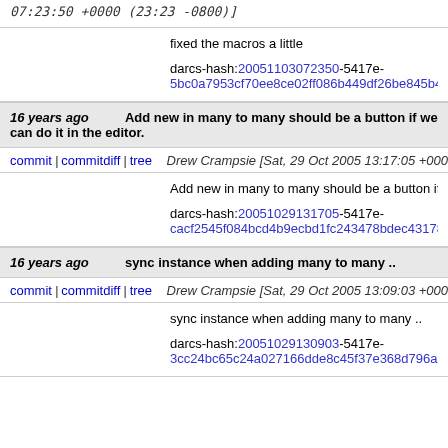07:23:50 +0000 (23:23 -0800)]
fixed the macros a little

darcs-hash:20051103072350-5417e-5bc0a7953cf70ee8ce02ff086b449df26be845b4.gz
16 years ago  Add new in many to many should be a button if we can do it in the editor.
commit | commitdiff | tree    Drew Crampsie [Sat, 29 Oct 2005 13:17:05 +0000 (06:17 -0700)]
Add new in many to many should be a button if we

darcs-hash:20051029131705-5417e-cacf2545f084bcd4b9ecbd1fc243478bdec43178.gz
16 years ago  sync instance when adding many to many ..
commit | commitdiff | tree    Drew Crampsie [Sat, 29 Oct 2005 13:09:03 +0000 (06:09 -0700)]
sync instance when adding many to many ..

darcs-hash:20051029130903-5417e-3cc24bc65c24a027166dde8c45f37e368d796a11.gz